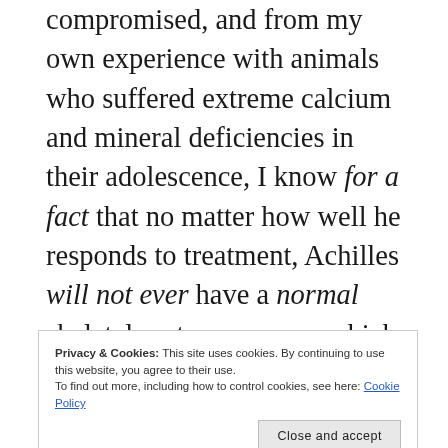compromised, and from my own experience with animals who suffered extreme calcium and mineral deficiencies in their adolescence, I know for a fact that no matter how well he responds to treatment, Achilles will not ever have a normal skeletal system, nor one which is fully capable of functioning the way a normal skeleton would. These issues combine to create the perfect storm of infirmities. Fracture sites, particularly ones near the joint, or which have been fixed via implants, are notoriously prone to developing arthritis which will only serve to further deteriorate the bones
Privacy & Cookies: This site uses cookies. By continuing to use this website, you agree to their use. To find out more, including how to control cookies, see here: Cookie Policy
breakdown and develop similar issues as those already